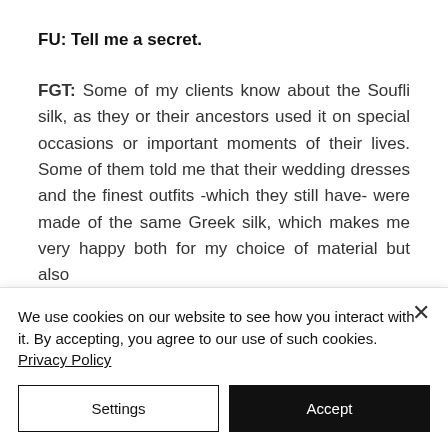FU: Tell me a secret.
FGT: Some of my clients know about the Soufli silk, as they or their ancestors used it on special occasions or important moments of their lives. Some of them told me that their wedding dresses and the finest outfits -which they still have- were made of the same Greek silk, which makes me very happy both for my choice of material but also
We use cookies on our website to see how you interact with it. By accepting, you agree to our use of such cookies. Privacy Policy
Settings
Accept